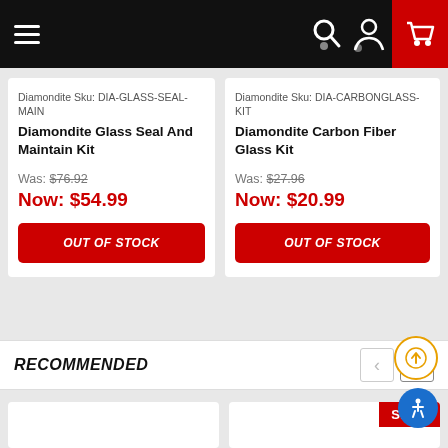Navigation bar with hamburger menu, search, account, and cart icons
Diamondite Sku: DIA-GLASS-SEAL-MAIN
Diamondite Glass Seal And Maintain Kit
Was: $76.92
Now: $54.99
OUT OF STOCK
Diamondite Sku: DIA-CARBONGLASS-KIT
Diamondite Carbon Fiber Glass Kit
Was: $27.96
Now: $20.99
OUT OF STOCK
RECOMMENDED
[Figure (screenshot): Bottom product cards area with SALE badge on right card]